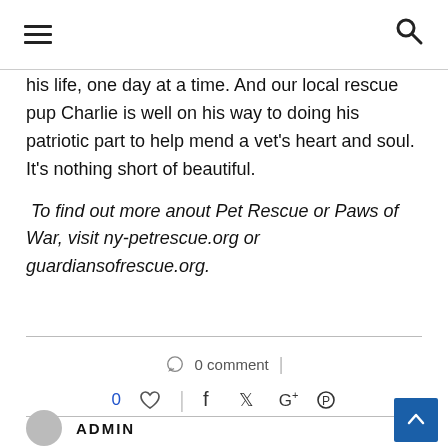his life, one day at a time. And our local rescue pup Charlie is well on his way to doing his patriotic part to help mend a vet's heart and soul. It's nothing short of beautiful.
To find out more anout Pet Rescue or Paws of War, visit ny-petrescue.org or guardiansofrescue.org.
0 comment | 0 ♡ | social icons | ADMIN